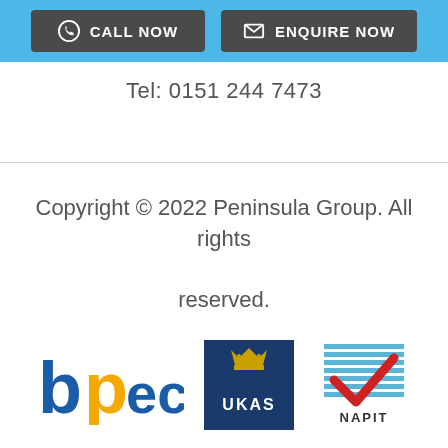CALL NOW | ENQUIRE NOW
Tel: 0151 244 7473
Copyright © 2022 Peninsula Group. All rights reserved.
[Figure (logo): BPEC logo in blue and yellow text]
[Figure (logo): UKAS logo with crown on dark blue background]
[Figure (logo): NAPIT logo with red checkmark and horizontal lines]